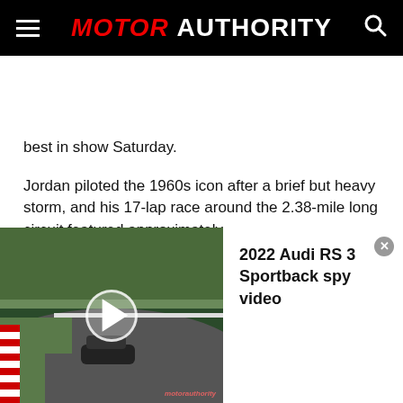MOTOR AUTHORITY
best in show Saturday.
Jordan piloted the 1960s icon after a brief but heavy storm, and his 17-lap race around the 2.38-mile long circuit featured approximately
[Figure (screenshot): Video player thumbnail showing a car on a racing circuit (Nurburgring), with a play button overlay and watermark reading motorauthority]
2022 Audi RS 3 Sportback spy video